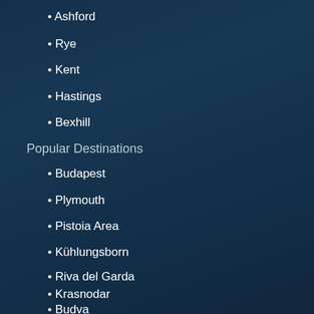Ashford
Rye
Kent
Hastings
Bexhill
Popular Destinations
Budapest
Plymouth
Pistoia Area
Kühlungsborn
Riva del Garda
Krasnodar
Budva